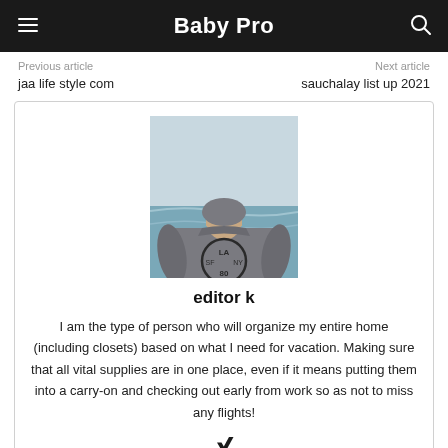Baby Pro
Previous article
Next article
jaa life style com
sauchalay list up 2021
[Figure (photo): Person wearing a hoodie with LA SF NY 80 logo, seen from behind, standing near ocean]
editor k
I am the type of person who will organize my entire home (including closets) based on what I need for vacation. Making sure that all vital supplies are in one place, even if it means putting them into a carry-on and checking out early from work so as not to miss any flights!
[Figure (logo): Xing social media icon]